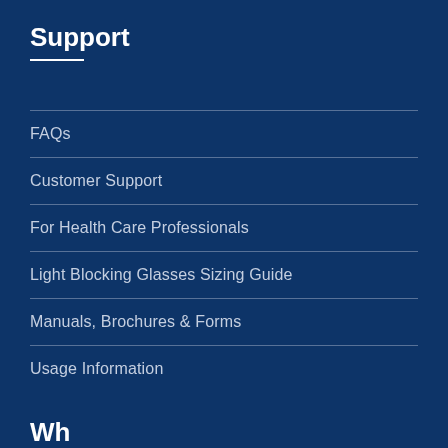Support
FAQs
Customer Support
For Health Care Professionals
Light Blocking Glasses Sizing Guide
Manuals, Brochures & Forms
Usage Information
Wh...